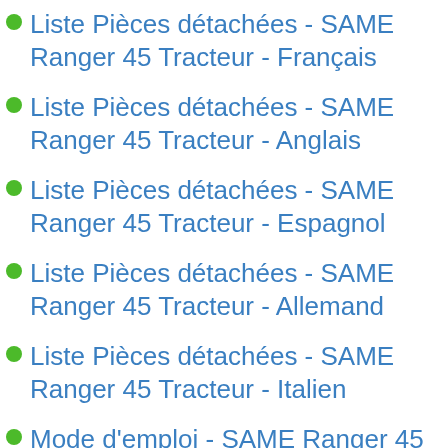Liste Pièces détachées - SAME Ranger 45 Tracteur - Français
Liste Pièces détachées - SAME Ranger 45 Tracteur - Anglais
Liste Pièces détachées - SAME Ranger 45 Tracteur - Espagnol
Liste Pièces détachées - SAME Ranger 45 Tracteur - Allemand
Liste Pièces détachées - SAME Ranger 45 Tracteur - Italien
Mode d'emploi - SAME Ranger 45 Tracteur - Français